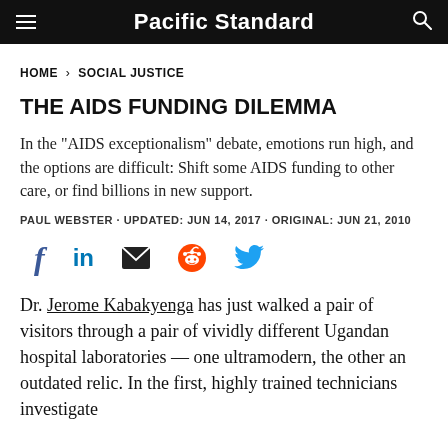Pacific Standard
HOME > SOCIAL JUSTICE
THE AIDS FUNDING DILEMMA
In the "AIDS exceptionalism" debate, emotions run high, and the options are difficult: Shift some AIDS funding to other care, or find billions in new support.
PAUL WEBSTER · UPDATED: JUN 14, 2017 · ORIGINAL: JUN 21, 2010
[Figure (infographic): Social share icons: Facebook, LinkedIn, Email, Reddit, Twitter]
Dr. Jerome Kabakyenga has just walked a pair of visitors through a pair of vividly different Ugandan hospital laboratories — one ultramodern, the other an outdated relic. In the first, highly trained technicians investigate